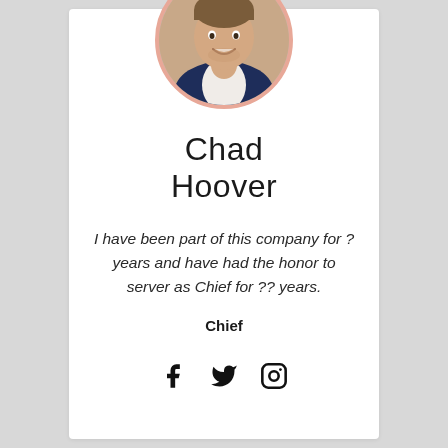[Figure (photo): Circular profile photo of a man in a navy blazer and white shirt, smiling, with a salmon/peach circular border.]
Chad Hoover
I have been part of this company for ? years and have had the honor to server as Chief for ?? years.
Chief
[Figure (infographic): Social media icons: Facebook (f), Twitter (bird), Instagram (camera)]